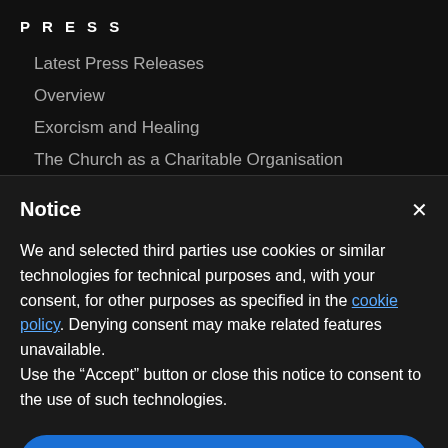PRESS
Latest Press Releases
Overview
Exorcism and Healing
The Church as a Charitable Organisation
Notice
We and selected third parties use cookies or similar technologies for technical purposes and, with your consent, for other purposes as specified in the cookie policy. Denying consent may make related features unavailable.
Use the “Accept” button or close this notice to consent to the use of such technologies.
Accept
Learn more and customize